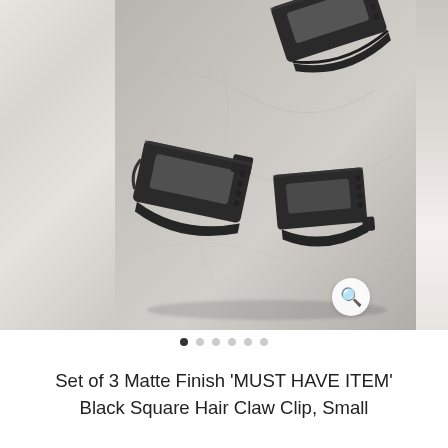[Figure (photo): Product photo of three matte black square hair claw clips arranged on a light grey marble surface. The clips have a rectangular open design. A marble texture strip is visible on the left edge and a blurred image of a person with hair is visible on the right edge. A magnifying glass icon button appears in the bottom right of the photo.]
Set of 3 Matte Finish 'MUST HAVE ITEM' Black Square Hair Claw Clip, Small